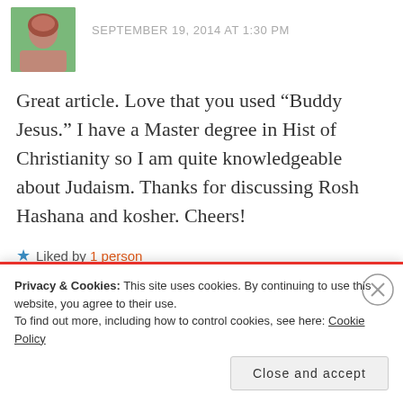SEPTEMBER 19, 2014 AT 1:30 PM
Great article. Love that you used “Buddy Jesus.” I have a Master degree in Hist of Christianity so I am quite knowledgeable about Judaism. Thanks for discussing Rosh Hashana and kosher. Cheers!
★ Liked by 1 person
Reply
Privacy & Cookies: This site uses cookies. By continuing to use this website, you agree to their use.
To find out more, including how to control cookies, see here: Cookie Policy
Close and accept